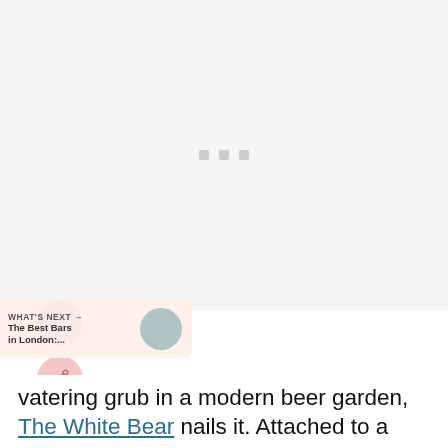[Figure (photo): Large image placeholder area with light gray background and three small gray loading indicator squares centered]
[Figure (illustration): Dark teal circular button with white heart icon (like/favorite button)]
[Figure (illustration): Pink circular button with share/network icon]
WHAT'S NEXT → The Best Bars in London:...
vatering grub in a modern beer garden, The White Bear nails it. Attached to a the t...thing else...the perfect...